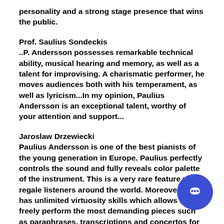personality and a strong stage presence that wins the public.
Prof. Saulius Sondeckis
..P. Andersson possesses remarkable technical ability, musical hearing and memory, as well as a talent for improvising. A charismatic performer, he moves audiences both with his temperament, as well as lyricism...In my opinion, Paulius Andersson is an exceptional talent, worthy of your attention and support...
Jaroslaw Drzewiecki
Paulius Andersson is one of the best pianists of the young generation in Europe. Paulius perfectly controls the sound and fully reveals color palette of the instrument. This is a very rare feature which regale listeners around the world. Moreover he has unlimited virtuosity skills which allows him to freely perform the most demanding pieces such as paraphrases, transcriptions and concertos for piano and orchestra. His interpretation of the works are well thought out, logical and innovative. Broad range repertoire allows him to freely plan every